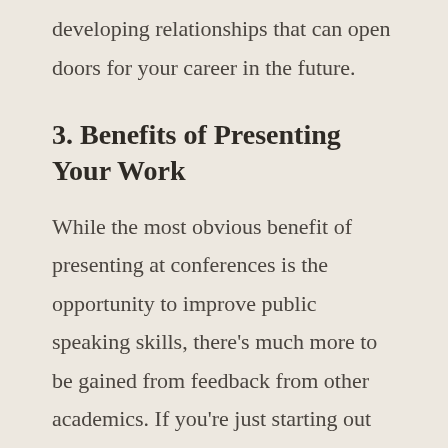developing relationships that can open doors for your career in the future.
3. Benefits of Presenting Your Work
While the most obvious benefit of presenting at conferences is the opportunity to improve public speaking skills, there’s much more to be gained from feedback from other academics. If you’re just starting out and have a research question, a methodology, a theoretical frame, and a literature review, you can benefit from feedback from the audience. More experienced researchers may be able to direct you toward more appropriate methodologies or resources, suggest a different theoretical lens, or recommend a